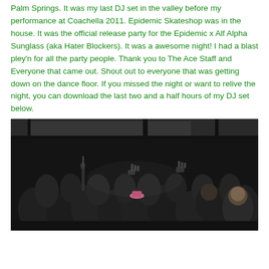Palm Springs. It was my last DJ set in the valley before my performance at Coachella 2011. Epidemic Skateshop was in the house. It was the official release party for the Epidemic x Alf Alpha Sunglass (aka Hater Blockers). It was a awesome night! I had a blast pley'n for all the party people. Thank you to The Ace Staff and Everyone that came out. Shout out to everyone that was getting down on the dance floor. If you missed the night or want to relive the night, you can download the last two and a half hours of my DJ set below.
[Figure (photo): A dark indoor photo of a large crowd of people at a party/event with their hands raised, taken from a slightly elevated angle. The venue appears to have a covered structure or awning visible at the top.]